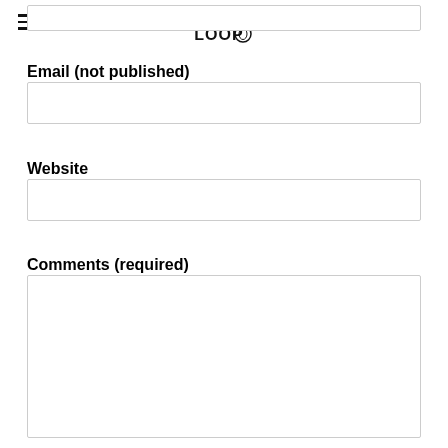Looping the Loop
[Figure (logo): Looping the Loop logo with stylized handwritten text and loop graphic]
Email (not published)
Website
Comments (required)